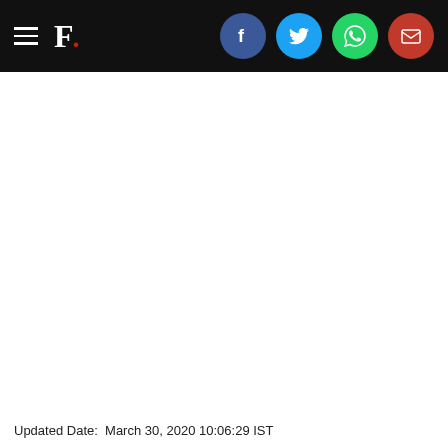F. [logo with social share icons: Facebook, Twitter, WhatsApp, Email]
Updated Date:  March 30, 2020 10:06:29 IST